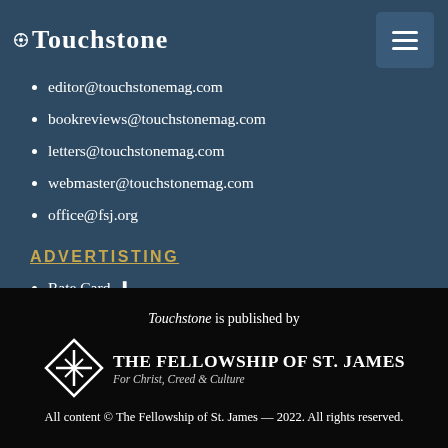Touchstone
editor@touchstonemag.com
bookreviews@touchstonemag.com
letters@touchstonemag.com
webmaster@touchstonemag.com
office@fsj.org
ADVERTISTING
Rate Card ⬇
PMA
Touchstone is published by The Fellowship of St. James — For Christ, Creed & Culture — All content © The Fellowship of St. James — 2022. All rights reserved.